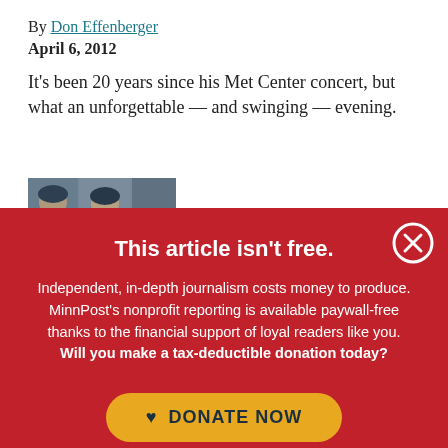By Don Effenberger
April 6, 2012
It's been 20 years since his Met Center concert, but what an unforgettable — and swinging — evening.
[Figure (photo): Partial photo of people wearing caps, partially obscured by overlay]
This article isn't free.
Independent, in-depth journalism costs money to produce. MinnPost's nonprofit reporting is available paywall-free thanks to the financial support of loyal readers like you. Will you make a tax-deductible donation today?
DONATE NOW